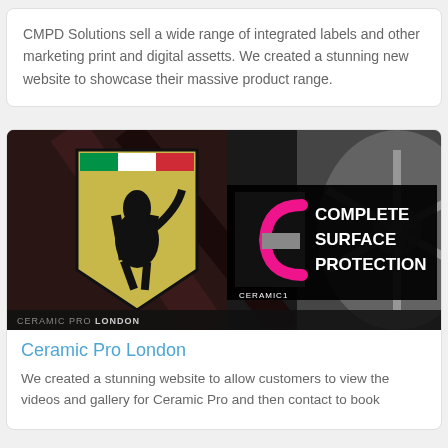CMPD Solutions sell a wide range of integrated labels and other marketing print and digital assetts. We created a stunning new website to showcase their massive product range.
[Figure (screenshot): Screenshot of Ceramic Pro London website banner showing a Ferrari logo and a 'Complete Surface Protection' banner with Ceramic Pro logo on a dark background with a car wheel visible]
Ceramic Pro London
We created a stunning website to allow customers to view the videos and gallery for Ceramic Pro and then contact to book